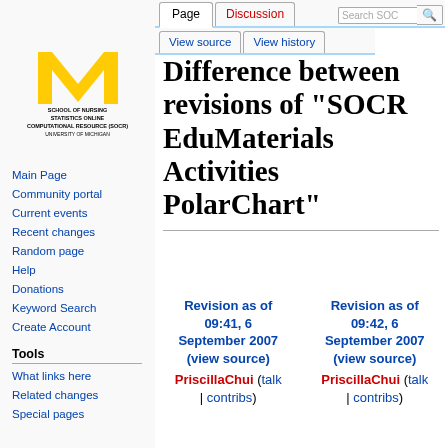Log in
[Figure (logo): University of Michigan School of Nursing Statistics Online Computational Resource (SOCR) logo with yellow M]
Main Page
Community portal
Current events
Recent changes
Random page
Help
Donations
Keyword Search
Create Account
Tools
What links here
Related changes
Special pages
Difference between revisions of "SOCR EduMaterials Activities PolarChart"
| Revision as of 09:41, 6 September 2007 (view source) | Revision as of 09:42, 6 September 2007 (view source) |
| --- | --- |
| PriscillaChui (talk | contribs) | PriscillaChui (talk | contribs) |